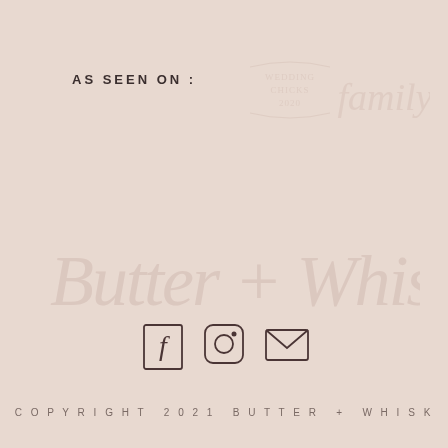AS SEEN ON :
[Figure (logo): Watermark logos for 'Wedding Chicks 2020' and 'family' text, shown faded/ghosted in the background top area]
[Figure (illustration): Large faded watermark script text reading 'Butter + Whisk' across the middle of the page]
[Figure (infographic): Social media icons: Facebook, Instagram, and email envelope icons centered on the page]
COPYRIGHT 2021 BUTTER + WHISK